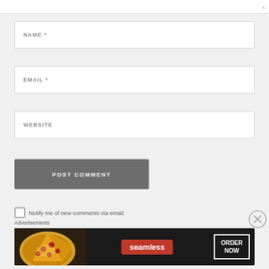NAME *
EMAIL *
WEBSITE
POST COMMENT
Notify me of new comments via email.
Advertisements
[Figure (screenshot): Seamless food delivery advertisement banner with pizza image on left, Seamless logo in red badge in center, and ORDER NOW button on right, all on dark background]